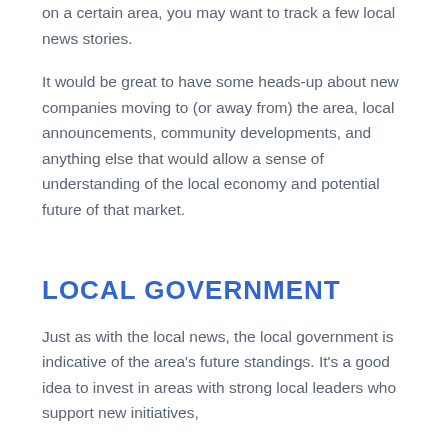on a certain area, you may want to track a few local news stories.
It would be great to have some heads-up about new companies moving to (or away from) the area, local announcements, community developments, and anything else that would allow a sense of understanding of the local economy and potential future of that market.
LOCAL GOVERNMENT
Just as with the local news, the local government is indicative of the area's future standings. It's a good idea to invest in areas with strong local leaders who support new initiatives,